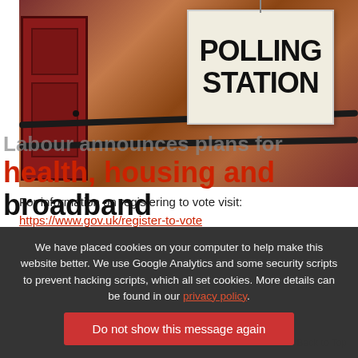[Figure (photo): Photo of a polling station sign hanging outside a brick building with a red door and black metal railings]
For information on registering to vote visit:
https://www.gov.uk/register-to-vote
We have placed cookies on your computer to help make this website better. We use Google Analytics and some security scripts to prevent hacking scripts, which all set cookies. More details can be found in our privacy policy.
Do not show this message again